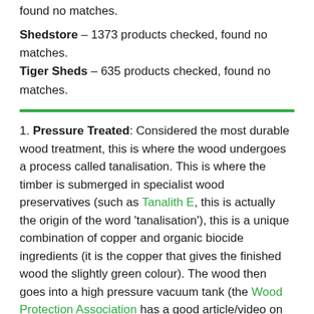found no matches.
Shedstore – 1373 products checked, found no matches.
Tiger Sheds – 635 products checked, found no matches.
1. Pressure Treated: Considered the most durable wood treatment, this is where the wood undergoes a process called tanalisation. This is where the timber is submerged in specialist wood preservatives (such as Tanalith E, this is actually the origin of the word 'tanalisation'), this is a unique combination of copper and organic biocide ingredients (it is the copper that gives the finished wood the slightly green colour). The wood then goes into a high pressure vacuum tank (the Wood Protection Association has a good article/video on this) to draw out excess moisture and air and force in the preservatives.
This deep penetration of the exterior wood protects it